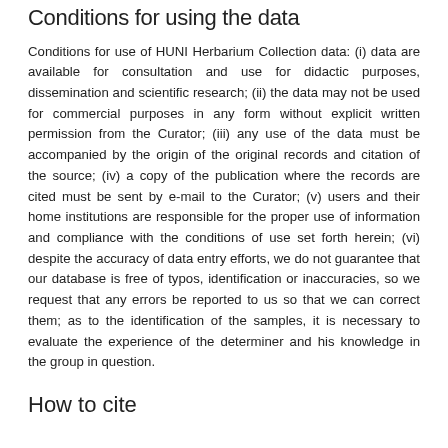Conditions for using the data
Conditions for use of HUNI Herbarium Collection data: (i) data are available for consultation and use for didactic purposes, dissemination and scientific research; (ii) the data may not be used for commercial purposes in any form without explicit written permission from the Curator; (iii) any use of the data must be accompanied by the origin of the original records and citation of the source; (iv) a copy of the publication where the records are cited must be sent by e-mail to the Curator; (v) users and their home institutions are responsible for the proper use of information and compliance with the conditions of use set forth herein; (vi) despite the accuracy of data entry efforts, we do not guarantee that our database is free of typos, identification or inaccuracies, so we request that any errors be reported to us so that we can correct them; as to the identification of the samples, it is necessary to evaluate the experience of the determiner and his knowledge in the group in question.
How to cite